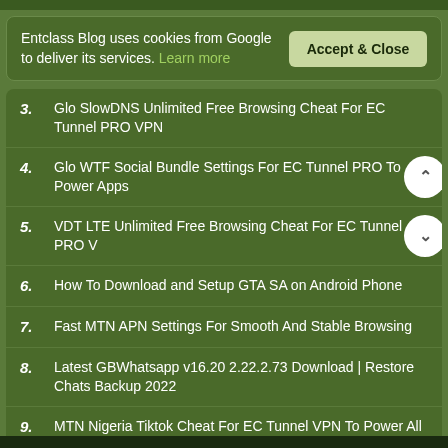Entclass Blog uses cookies from Google to deliver its services. Learn more
3. Glo SlowDNS Unlimited Free Browsing Cheat For EC Tunnel PRO VPN
4. Glo WTF Social Bundle Settings For EC Tunnel PRO To Power Apps
5. VDT LTE Unlimited Free Browsing Cheat For EC Tunnel PRO V
6. How To Download and Setup GTA SA on Android Phone
7. Fast MTN APN Settings For Smooth And Stable Browsing
8. Latest GBWhatsapp v16.20 2.22.2.73 Download | Restore Chats Backup 2022
9. MTN Nigeria Tiktok Cheat For EC Tunnel VPN To Power All Apps
10. How To Activate 9mobile MoreBlaze 650MB For 200 Naira